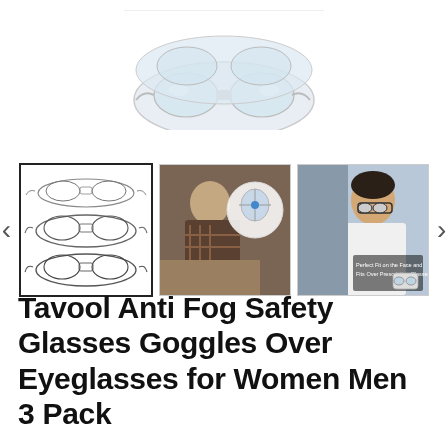[Figure (photo): Main product image showing clear safety goggles/glasses from above, partially cropped at top of page]
[Figure (photo): Thumbnail gallery row with three images: (1) selected thumbnail with black border showing line drawing of three safety goggles, (2) photo of man in plaid shirt working with safety goggles and a circular diagram overlay, (3) photo of man in white lab coat wearing safety glasses with text overlay 'Perfect Fit on the Face and Fits Over Prescription Glasses'. Navigation arrows on left and right sides.]
Tavool Anti Fog Safety Glasses Goggles Over Eyeglasses for Women Men 3 Pack